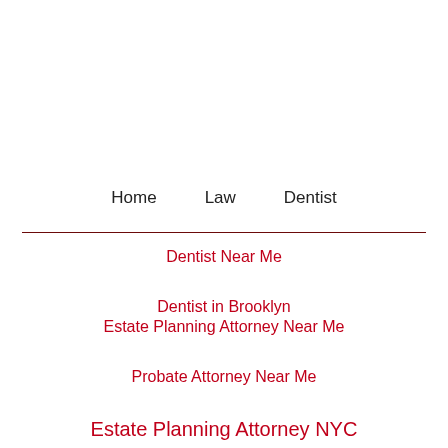Home    Law    Dentist
Dentist Near Me
Dentist in Brooklyn
Estate Planning Attorney Near Me
Probate Attorney Near Me
Estate Planning Attorney NYC